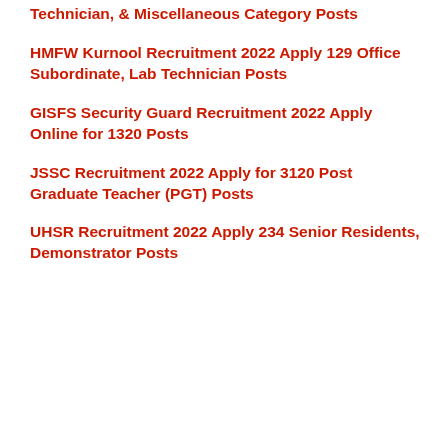Technician, & Miscellaneous Category Posts
HMFW Kurnool Recruitment 2022 Apply 129 Office Subordinate, Lab Technician Posts
GISFS Security Guard Recruitment 2022 Apply Online for 1320 Posts
JSSC Recruitment 2022 Apply for 3120 Post Graduate Teacher (PGT) Posts
UHSR Recruitment 2022 Apply 234 Senior Residents, Demonstrator Posts